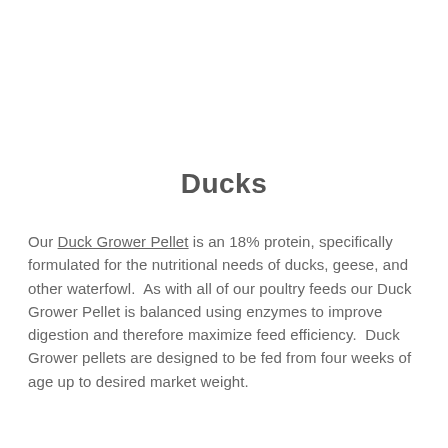Ducks
Our Duck Grower Pellet is an 18% protein, specifically formulated for the nutritional needs of ducks, geese, and other waterfowl.  As with all of our poultry feeds our Duck Grower Pellet is balanced using enzymes to improve digestion and therefore maximize feed efficiency.  Duck Grower pellets are designed to be fed from four weeks of age up to desired market weight.